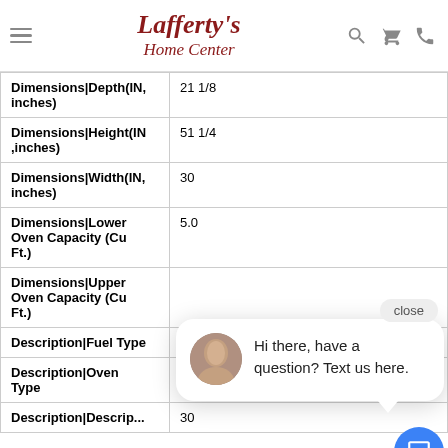Lafferty's Home Center
| Attribute | Value |
| --- | --- |
| Dimensions|Depth(IN,inches) | 21 1/8 |
| Dimensions|Height(IN,inches) | 51 1/4 |
| Dimensions|Width(IN,inches) | 30 |
| Dimensions|Lower Oven Capacity (Cu Ft.) | 5.0 |
| Dimensions|Upper Oven Capacity (Cu Ft.) |  |
| Description|Fuel Type | Electric |
| Description|Oven Type | Double |
| Description|... | 30 |